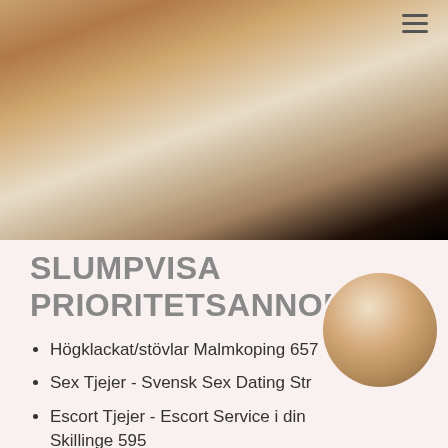[Figure (photo): A photograph of a person posing, upper body visible, with dark boots/clothing at the bottom, against a white/light background.]
SLUMPVISA PRIORITETSANNONSER
Högklackat/stövlar Malmkoping 657
Sex Tjejer - Svensk Sex Dating Str
Escort Tjejer - Escort Service i din Skillinge 595
Sex & Massage Ulla
[Figure (photo): A circular cropped photograph of a person, torso visible.]